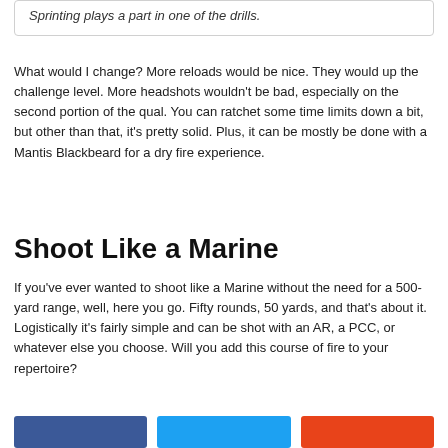Sprinting plays a part in one of the drills.
What would I change? More reloads would be nice. They would up the challenge level. More headshots wouldn't be bad, especially on the second portion of the qual. You can ratchet some time limits down a bit, but other than that, it's pretty solid. Plus, it can be mostly be done with a Mantis Blackbeard for a dry fire experience.
Shoot Like a Marine
If you've ever wanted to shoot like a Marine without the need for a 500-yard range, well, here you go. Fifty rounds, 50 yards, and that's about it. Logistically it's fairly simple and can be shot with an AR, a PCC, or whatever else you choose. Will you add this course of fire to your repertoire?